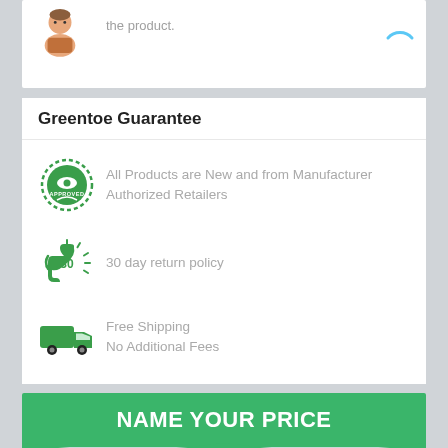the product.
Greentoe Guarantee
All Products are New and from Manufacturer Authorized Retailers
30 day return policy
Free Shipping
No Additional Fees
NAME YOUR PRICE
ON A BRAND NEW SINGER 4411